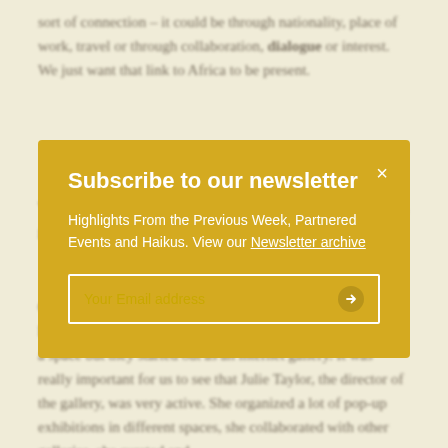sort of connection – it could be through nationality, place of work, travel or through collaboration, dialogue or interest. We just want that link to Africa to be present.
We are a fair that is very open to young galleries for example, galleries that have just opened or galleries who
Subscribe to our newsletter
Highlights From the Previous Week, Partnered Events and Haikus. View our Newsletter archive
Your Email address
Once such gallery is Guns & Rain in Johannesburg whom we have worked with from the beginning. They have just opened a space but they started out as an internet gallery. It was really important for us to see that Julie Taylor, the director of the gallery, was very active. She organized a lot of pop-up exhibitions in different spaces, she collaborated with other galleries, she curated and